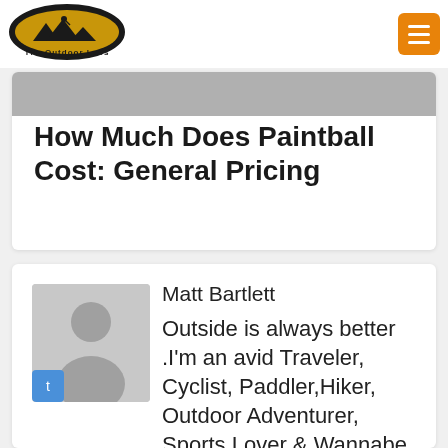[Figure (logo): The Outdoor Labs logo — oval shape with black border, gold/yellow fill, hiker silhouette with mountains, text 'The Outdoor Labs']
How Much Does Paintball Cost: General Pricing
Matt Bartlett
Outside is always better .I'm an avid Traveler, Cyclist, Paddler,Hiker, Outdoor Adventurer, Sports Lover & Wannabe